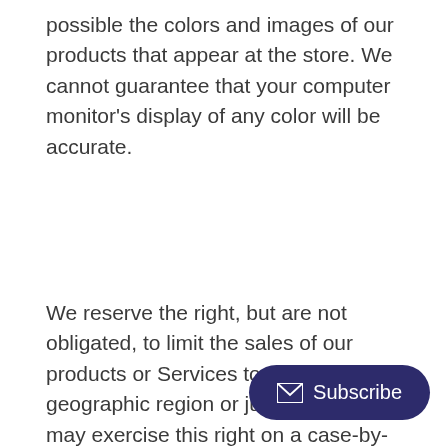possible the colors and images of our products that appear at the store. We cannot guarantee that your computer monitor's display of any color will be accurate.
We reserve the right, but are not obligated, to limit the sales of our products or Services to any person, geographic region or jurisdiction. We may exercise this right on a case-by-case basis. We reserve the right to limit the quantities of any products or services that we offer. All descriptions of products or product pricing are subject to change at anytime without notice, at the sole discretion of us. We reserve the right to discontinue any product at anytime. Any offer for any product or service made on this site is void where prohibited.